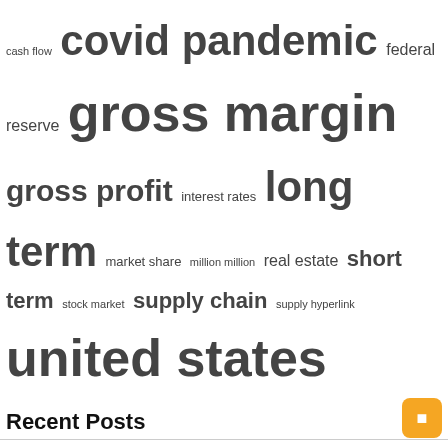[Figure (infographic): Tag cloud of financial terms with varying font sizes indicating frequency: cash flow (small), covid pandemic (large bold), federal reserve (medium), gross margin (very large bold), gross profit (large bold), interest rates (medium), long term (very large bold), market share (small-medium), million million (small), real estate (medium), short term (large), stock market (small-medium), supply chain (large), supply hyperlink (small), united states (very large bold)]
Recent Posts
Unemployment Benefits That Can Get You Payday Loans
COVID Restoration Loans: Guidelines for Rebuilding Your Business
Global Surveys Flash Recession Warnings
Allreal: Convincing half-year results in 2022
JAGUAR HEALTH, INC. : entering into a material definitive agreement, unrecorded sale of equity interests, changes in articles of association or regulations; Change of fiscal year, financial statements and supporting documents (Form 8-K)
Lowe's Companies, Inc. (NYSE: LOW) – What does the market think of Lowe's